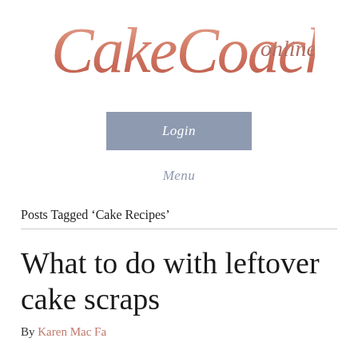[Figure (logo): CakeCoach online script logo in rose/copper color]
Login
Menu
Posts Tagged ‘Cake Recipes’
What to do with leftover cake scraps
By Karen Mac Farlane